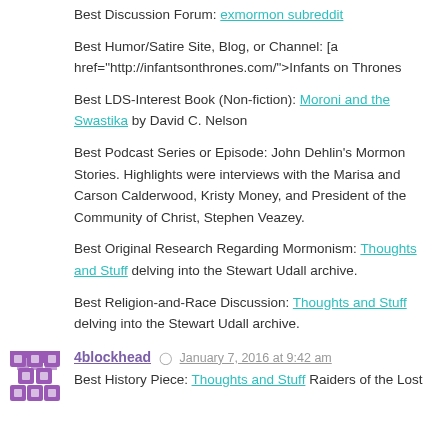Best Discussion Forum: exmormon subreddit
Best Humor/Satire Site, Blog, or Channel: [a href="http://infantsonthrones.com/">Infants on Thrones
Best LDS-Interest Book (Non-fiction): Moroni and the Swastika by David C. Nelson
Best Podcast Series or Episode: John Dehlin's Mormon Stories. Highlights were interviews with the Marisa and Carson Calderwood, Kristy Money, and President of the Community of Christ, Stephen Veazey.
Best Original Research Regarding Mormonism: Thoughts and Stuff delving into the Stewart Udall archive.
Best Religion-and-Race Discussion: Thoughts and Stuff delving into the Stewart Udall archive.
4blockhead  January 7, 2016 at 9:42 am
Best History Piece: Thoughts and Stuff Raiders of the Lost